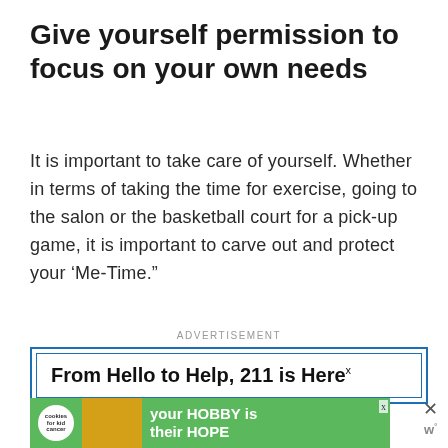Give yourself permission to focus on your own needs
It is important to take care of yourself.  Whether in terms of taking the time for exercise, going to the salon or the basketball court for a pick-up game, it is important to carve out and protect your ‘Me-Time.”
[Figure (other): Advertisement banner: 'From Hello to Help, 211 is Here' with blue border, with ADVERTISEMENT label above and close button (x) in top right corner]
[Figure (other): Advertisement banner for 'cookies for kid cancer' charity with green background showing 'your HOBBY is their HOPE' text, with a yellow heart held by hands, and close buttons]